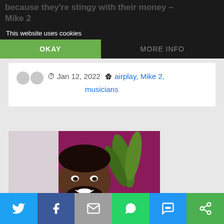because they're stingy with their money – Mike 2
This website uses cookies
OKAY
MORE INFO
Jan 12, 2022  airplay, Mike 2, musicians
[Figure (photo): Portrait photo of a smiling man with a beard wearing a dark red/maroon polo shirt with suspenders, standing outdoors near a plant with purple and green foliage in the background]
Twitter | Facebook | Email | WhatsApp | SMS | More